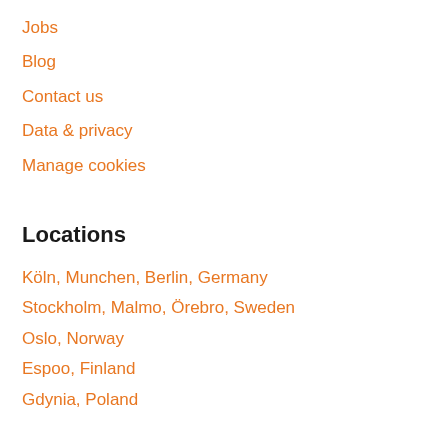Jobs
Blog
Contact us
Data & privacy
Manage cookies
Locations
Köln, Munchen, Berlin, Germany
Stockholm, Malmo, Örebro, Sweden
Oslo, Norway
Espoo, Finland
Gdynia, Poland